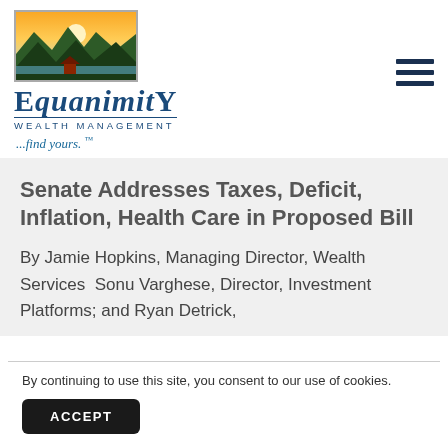[Figure (logo): Equanimity Wealth Management logo with mountain landscape illustration and brand name]
Senate Addresses Taxes, Deficit, Inflation, Health Care in Proposed Bill
By Jamie Hopkins, Managing Director, Wealth Services  Sonu Varghese, Director, Investment Platforms; and Ryan Detrick,
By continuing to use this site, you consent to our use of cookies.